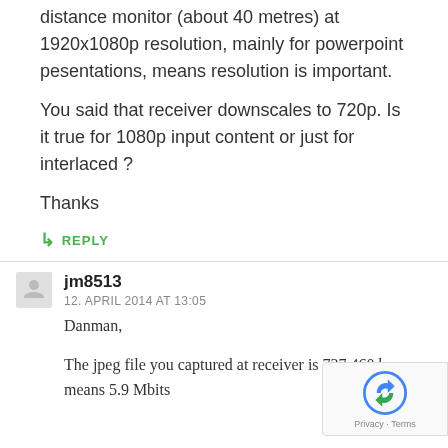distance monitor (about 40 metres) at 1920x1080p resolution, mainly for powerpoint pesentations, means resolution is important.
You said that receiver downscales to 720p. Is it true for 1080p input content or just for interlaced ?
Thanks
↳ REPLY
jm8513
12. APRIL 2014 AT 13:05
Danman,
The jpeg file you captured at receiver is 737.460 b means 5.9 Mbits